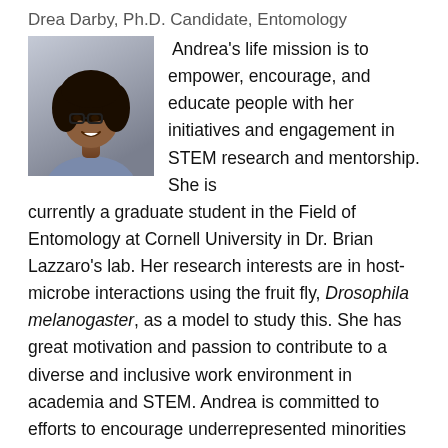Drea Darby, Ph.D. Candidate, Entomology
[Figure (photo): Headshot photo of Andrea Darby, a young woman with curly hair and glasses, smiling, wearing a sleeveless top, against a gray background.]
Andrea's life mission is to empower, encourage, and educate people with her initiatives and engagement in STEM research and mentorship. She is currently a graduate student in the Field of Entomology at Cornell University in Dr. Brian Lazzaro's lab. Her research interests are in host-microbe interactions using the fruit fly, Drosophila melanogaster, as a model to study this. She has great motivation and passion to contribute to a diverse and inclusive work environment in academia and STEM. Andrea is committed to efforts to encourage underrepresented minorities (URM) to pursue careers in STEM. She dreams to make these spaces feel like a safe environment for people of all backgrounds to feel